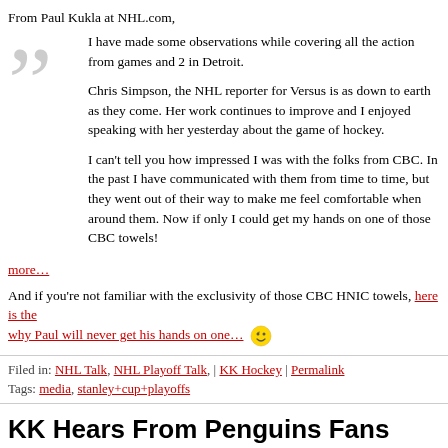From Paul Kukla at NHL.com,
I have made some observations while covering all the action from games and 2 in Detroit.

Chris Simpson, the NHL reporter for Versus is as down to earth as they come. Her work continues to improve and I enjoyed speaking with her yesterday about the game of hockey.

I can't tell you how impressed I was with the folks from CBC. In the past I have communicated with them from time to time, but they went out of their way to make me feel comfortable when around them. Now if only I could get my hands on one of those CBC towels!
more…
And if you're not familiar with the exclusivity of those CBC HNIC towels, here is the why Paul will never get his hands on one…
Filed in: NHL Talk, NHL Playoff Talk, | KK Hockey | Permalink
Tags: media, stanley+cup+playoffs
KK Hears From Penguins Fans
by Alanah McGinley on 05/26/08 at 06:13 PM ET